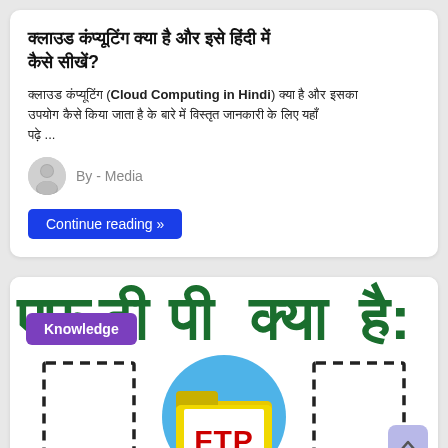क्लाउड कंप्यूटिंग क्या है और इसे हिंदी में कैसे सीखें?
क्लाउड कंप्यूटिंग (Cloud Computing in Hindi) क्या है और इसका उपयोग कैसे किया जाता है के बारे में विस्तृत जानकारी के लिए यहाँ पढ़े ...
By - Media
Continue reading »
[Figure (illustration): Hindi text heading partially visible at top of second card with large Devanagari characters in dark green]
Knowledge
[Figure (illustration): FTP folder icon - yellow folder with FTP text in red on a blue circular background, with dashed border rectangles on either side, suggesting a file transfer graphic]